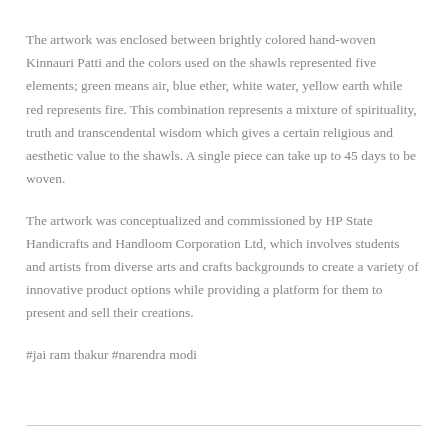The artwork was enclosed between brightly colored hand-woven Kinnauri Patti and the colors used on the shawls represented five elements; green means air, blue ether, white water, yellow earth while red represents fire. This combination represents a mixture of spirituality, truth and transcendental wisdom which gives a certain religious and aesthetic value to the shawls. A single piece can take up to 45 days to be woven.
The artwork was conceptualized and commissioned by HP State Handicrafts and Handloom Corporation Ltd, which involves students and artists from diverse arts and crafts backgrounds to create a variety of innovative product options while providing a platform for them to present and sell their creations.
#jai ram thakur #narendra modi